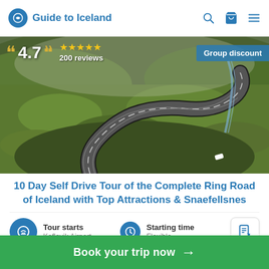Guide to Iceland
[Figure (photo): Aerial view of a winding road through green moss-covered Icelandic landscape with a car visible on the road. Rating overlay shows 4.7 stars with 200 reviews and a Group discount badge.]
10 Day Self Drive Tour of the Complete Ring Road of Iceland with Top Attractions & Snaefellsnes
Tour starts
Keflavik Airport
Starting time
Flexible
Book your trip now